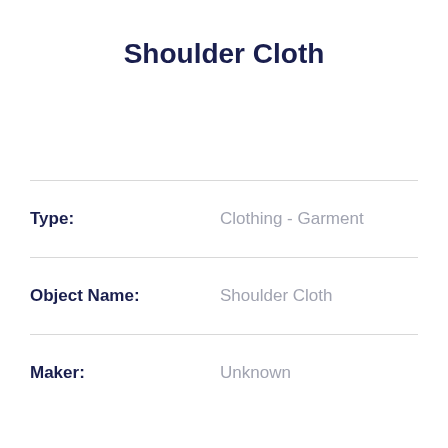Shoulder Cloth
Type: Clothing - Garment
Object Name: Shoulder Cloth
Maker: Unknown